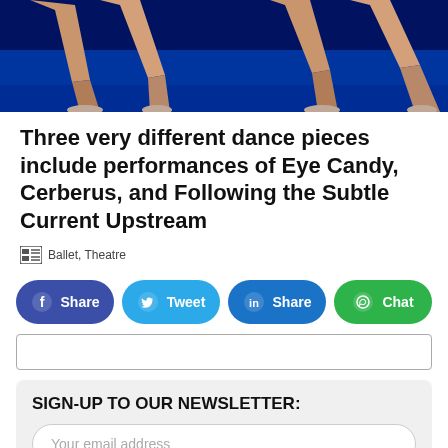[Figure (photo): Photograph of ballet dancers' legs on a blue-lit stage, showing extended legs and dance shoes against a dark blue floor.]
Three very different dance pieces include performances of Eye Candy, Cerberus, and Following the Subtle Current Upstream
Ballet, Theatre
Share  Tweet  Share  Chat
SIGN-UP TO OUR NEWSLETTER:
Your email address
Subscribe